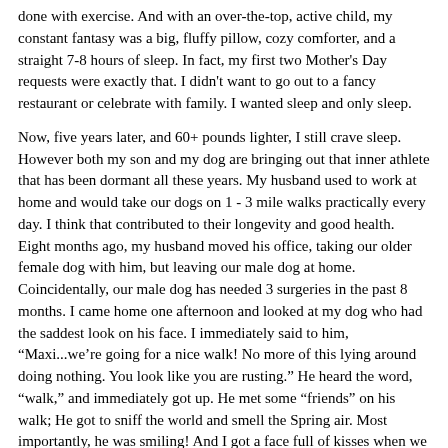done with exercise. And with an over-the-top, active child, my constant fantasy was a big, fluffy pillow, cozy comforter, and a straight 7-8 hours of sleep. In fact, my first two Mother's Day requests were exactly that. I didn't want to go out to a fancy restaurant or celebrate with family. I wanted sleep and only sleep.
Now, five years later, and 60+ pounds lighter, I still crave sleep. However both my son and my dog are bringing out that inner athlete that has been dormant all these years. My husband used to work at home and would take our dogs on 1 - 3 mile walks practically every day. I think that contributed to their longevity and good health. Eight months ago, my husband moved his office, taking our older female dog with him, but leaving our male dog at home. Coincidentally, our male dog has needed 3 surgeries in the past 8 months. I came home one afternoon and looked at my dog who had the saddest look on his face. I immediately said to him, “Maxi...we’re going for a nice walk! No more of this lying around doing nothing. You look like you are rusting.” He heard the word, “walk,” and immediately got up. He met some “friends” on his walk; He got to sniff the world and smell the Spring air. Most importantly, he was smiling! And I got a face full of kisses when we returned!
Around the time I decided to take my dog for daily walks, my son wanted to visit our local park on any nice day after school. Evidently someone had introduced him to Handball and he wanted to practice his technique whenever he could. If he made a friend at the park, the two of them would play until the other child either became tired or had to go home. Then it was my turn to be the “substitute” player until another friend came along. I must say, my son is a very good teacher. I started out trying to play tennis with the handball until my son corrected my technique. Then we became quite good competitors! I’m not sure if the other Moms who were standing around conversing thought I was a total nut. It didn’t